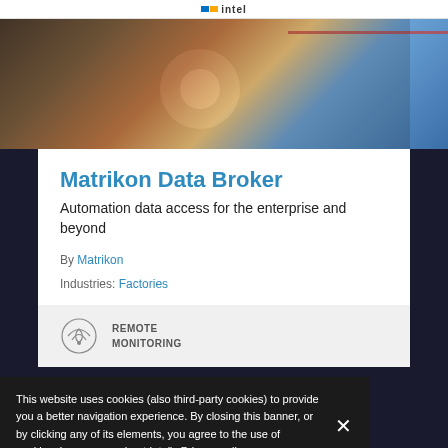Intel
[Figure (photo): Industrial robotic welding machinery with bright sparks and blue-toned background, suggesting manufacturing automation]
Matrikon Data Broker
Automation data access for the enterprise and beyond
By Matrikon
Industries: Factories
[Figure (logo): Remote Monitoring icon — circular signal/wifi-like symbol with text REMOTE MONITORING]
This website uses cookies (also third-party cookies) to provide you a better navigation experience. By closing this banner, or by clicking any of its elements, you agree to the use of cookies. Learn more about Intel's Privacy policy.